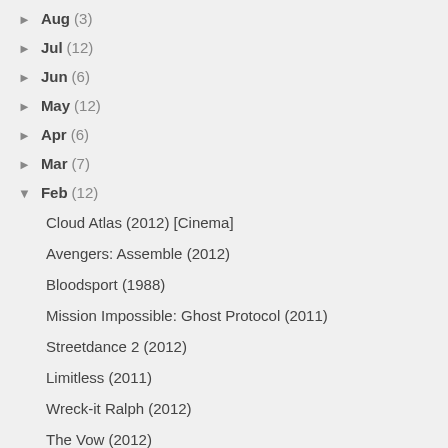► Aug (3)
► Jul (12)
► Jun (6)
► May (12)
► Apr (6)
► Mar (7)
▼ Feb (12)
Cloud Atlas (2012) [Cinema]
Avengers: Assemble (2012)
Bloodsport (1988)
Mission Impossible: Ghost Protocol (2011)
Streetdance 2 (2012)
Limitless (2011)
Wreck-it Ralph (2012)
The Vow (2012)
The Best Exotic Marigold Hotel (2011)